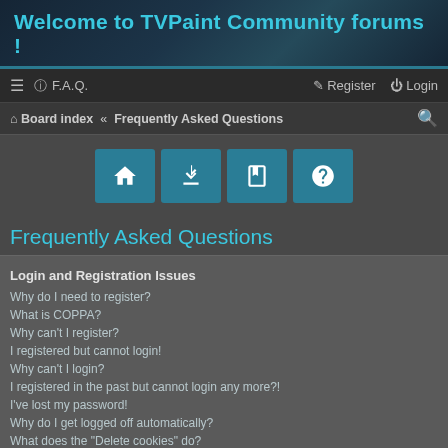Welcome to TVPaint Community forums !
≡  ? F.A.Q.    Register  Login
Board index  «  Frequently Asked Questions
[Figure (infographic): Four teal icon buttons: home, download, book, question mark]
Frequently Asked Questions
Login and Registration Issues
Why do I need to register?
What is COPPA?
Why can't I register?
I registered but cannot login!
Why can't I login?
I registered in the past but cannot login any more?!
I've lost my password!
Why do I get logged off automatically?
What does the "Delete cookies" do?
User Preferences and settings
How do I change my settings?
How do I prevent my username appearing in the online user listings?
The times are not correct!
I changed the timezone and the time is still wrong!